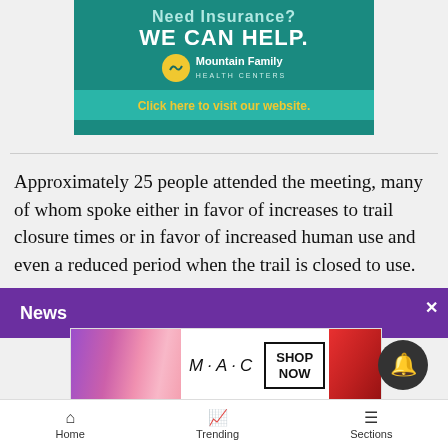[Figure (advertisement): Mountain Family Health Centers advertisement banner with teal background, text 'Need Insurance? WE CAN HELP.' and yellow click bar 'Click here to visit our website.']
Approximately 25 people attended the meeting, many of whom spoke either in favor of increases to trail closure times or in favor of increased human use and even a reduced period when the trail is closed to use.
News
[Figure (advertisement): MAC cosmetics advertisement showing lipsticks with 'SHOP NOW' call to action.]